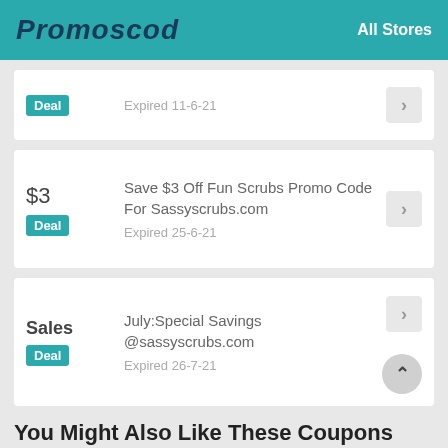Promoscod   All Stores
Expired 11-6-21
Deal
$3   Save $3 Off Fun Scrubs Promo Code For Sassyscrubs.com   Expired 25-6-21   Deal
Sales   July:Special Savings @sassyscrubs.com   Expired 26-7-21   Deal
You Might Also Like These Coupons